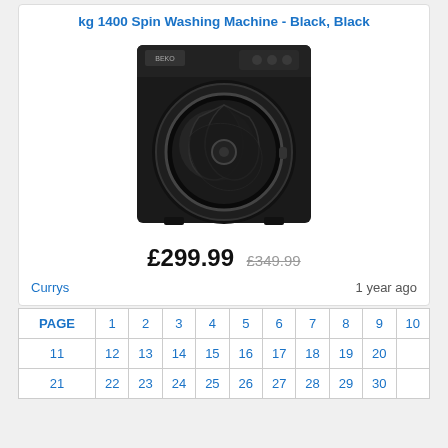kg 1400 Spin Washing Machine - Black, Black
[Figure (photo): Black front-loading washing machine with circular door and control panel at top]
£299.99  £349.99
Currys    1 year ago
| PAGE | 1 | 2 | 3 | 4 | 5 | 6 | 7 | 8 | 9 | 10 |
| --- | --- | --- | --- | --- | --- | --- | --- | --- | --- | --- |
| 11 | 12 | 13 | 14 | 15 | 16 | 17 | 18 | 19 | 20 |  |
| 21 | 22 | 23 | 24 | 25 | 26 | 27 | 28 | 29 | 30 |  |